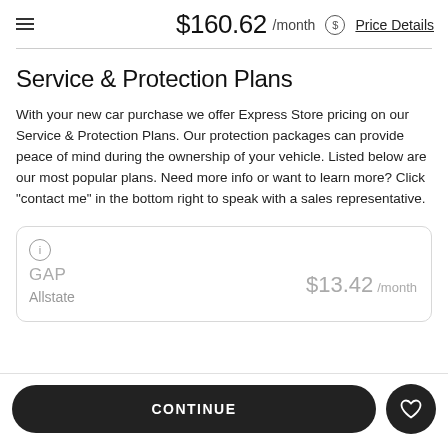$160.62 /month Price Details
Service & Protection Plans
With your new car purchase we offer Express Store pricing on our Service & Protection Plans. Our protection packages can provide peace of mind during the ownership of your vehicle. Listed below are our most popular plans. Need more info or want to learn more? Click "contact me" in the bottom right to speak with a sales representative.
GAP
Allstate
$13.42 /month